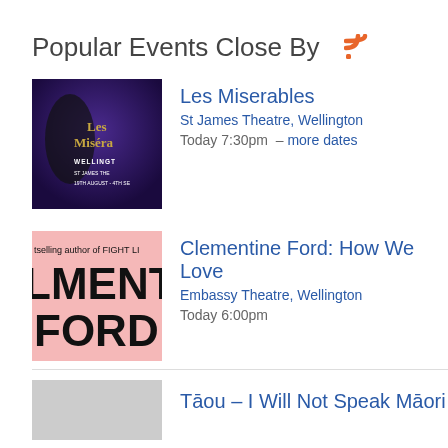Popular Events Close By
[Figure (photo): Les Miserables show poster - dark purple background with text 'Les Miserables WELLINGTON ST JAMES THE 19TH AUGUST - 4TH SE']
Les Miserables
St James Theatre, Wellington
Today 7:30pm – more dates
[Figure (photo): Clementine Ford: How We Love book cover - pink background with text 'bestselling author of FIGHT LI... LMENT FORD']
Clementine Ford: How We Love
Embassy Theatre, Wellington
Today 6:00pm
Tāou – I Will Not Speak Māori